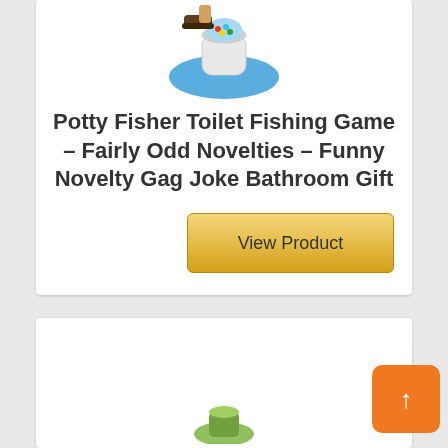[Figure (photo): Top portion of a product card showing a toilet fishing game product image (partially visible at top)]
Potty Fisher Toilet Fishing Game – Fairly Odd Novelties – Funny Novelty Gag Joke Bathroom Gift
[Figure (other): Golden 'View Product' button]
[Figure (photo): Second product card partially visible at bottom of page, showing a product image (partially cut off)]
[Figure (other): Orange scroll-to-top button with upward arrow]